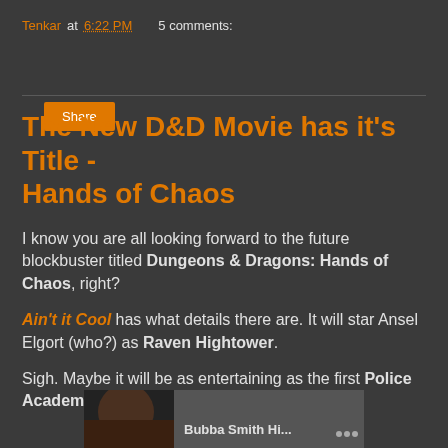Tenkar at 6:22 PM   5 comments:
Share
The New D&D Movie has it's Title - Hands of Chaos
I know you are all looking forward to the future blockbuster titled Dungeons & Dragons: Hands of Chaos, right?
Ain't it Cool has what details there are. It will star Ansel Elgort (who?) as Raven Hightower.
Sigh. Maybe it will be as entertaining as the first Police Academy movie was.
[Figure (photo): Partial image showing a person, with text 'Bubba Smith Hi...' visible at the bottom]